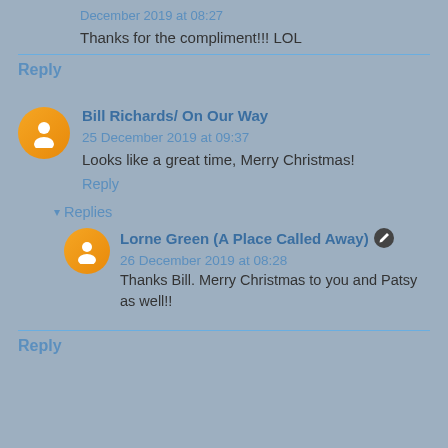December 2019 at 08:27
Thanks for the compliment!!! LOL
Reply
Bill Richards/ On Our Way  25 December 2019 at 09:37
Looks like a great time, Merry Christmas!
Reply
Replies
Lorne Green (A Place Called Away)  26 December 2019 at 08:28
Thanks Bill. Merry Christmas to you and Patsy as well!!
Reply